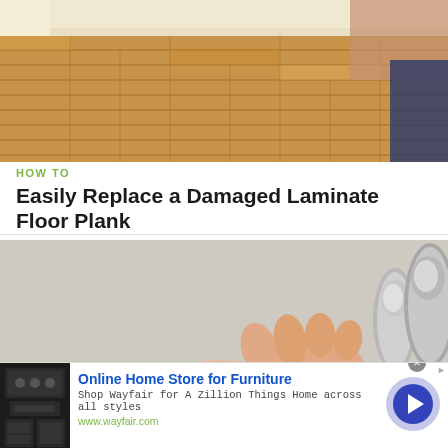[Figure (photo): Photo of a laminate wood floor with a person kneeling in the background]
HOW TO
Easily Replace a Damaged Laminate Floor Plank
[Figure (photo): A hand holding a metallic door handle or tool against a white wall]
[Figure (photo): Advertisement: Online Home Store for Furniture — Wayfair. Shows appliance images, blue arrow circle button, and text: Shop Wayfair for A Zillion Things Home across all styles. www.wayfair.com]